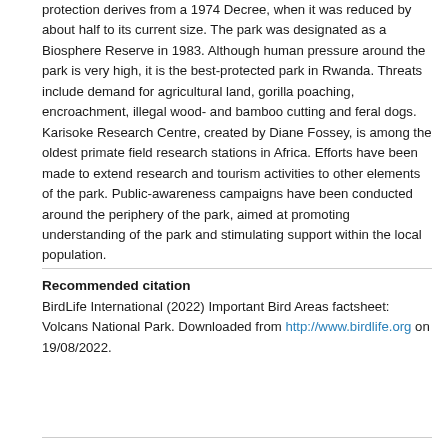protection derives from a 1974 Decree, when it was reduced by about half to its current size. The park was designated as a Biosphere Reserve in 1983. Although human pressure around the park is very high, it is the best-protected park in Rwanda. Threats include demand for agricultural land, gorilla poaching, encroachment, illegal wood- and bamboo cutting and feral dogs. Karisoke Research Centre, created by Diane Fossey, is among the oldest primate field research stations in Africa. Efforts have been made to extend research and tourism activities to other elements of the park. Public-awareness campaigns have been conducted around the periphery of the park, aimed at promoting understanding of the park and stimulating support within the local population.
Recommended citation
BirdLife International (2022) Important Bird Areas factsheet: Volcans National Park. Downloaded from http://www.birdlife.org on 19/08/2022.